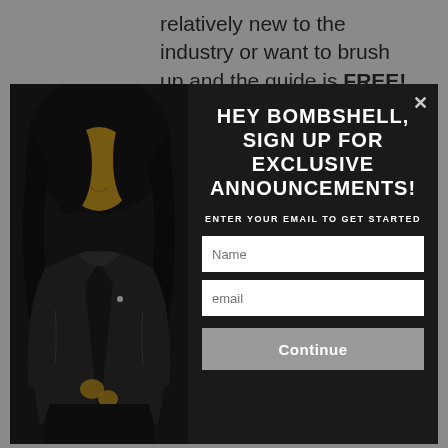relatively new to the industry or want to brush up and the guide is FREE!
[Figure (screenshot): Modal popup with a woman in a black leather jacket on the left, and on the right white bold text 'HEY BOMBSHELL, SIGN UP FOR EXCLUSIVE ANNOUNCEMENTS!' with email signup fields and a Continue button]
Accsm
I got this bob wig for my birthday and it was mad cute. I don`t really wear